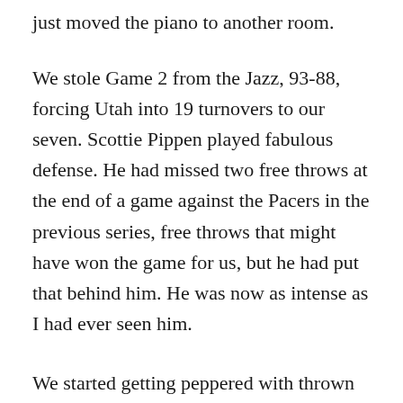just moved the piano to another room.
We stole Game 2 from the Jazz, 93-88, forcing Utah into 19 turnovers to our seven. Scottie Pippen played fabulous defense. He had missed two free throws at the end of a game against the Pacers in the previous series, free throws that might have won the game for us, but he had put that behind him. He was now as intense as I had ever seen him.
We started getting peppered with thrown coins on the bench in the second half. I told our trainer, Chip Schaefer, to tell the refs, and the P.A. announcer finally made a pretty weak announcement asking the crowd to stop because a Jazz player might be hit. I was worried because you don't know where you could get hit. I got nailed pretty good in the back after Game 1. But by staying composed,